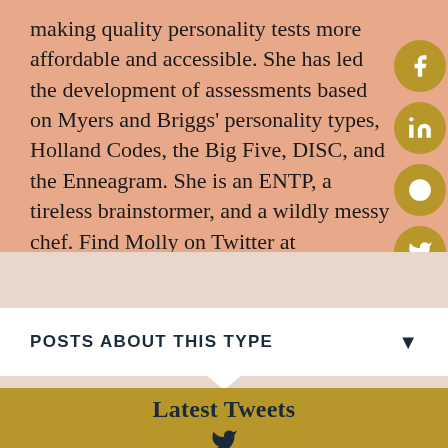making quality personality tests more affordable and accessible. She has led the development of assessments based on Myers and Briggs' personality types, Holland Codes, the Big Five, DISC, and the Enneagram. She is an ENTP, a tireless brainstormer, and a wildly messy chef. Find Molly on Twitter at @mollmown.
[Figure (other): Vertical strip of social media share buttons: Facebook, LinkedIn, Reddit, Twitter - gold circles with white icons on right edge]
POSTS ABOUT THIS TYPE
Latest Tweets
[Figure (other): Twitter bird icon in dark navy color]